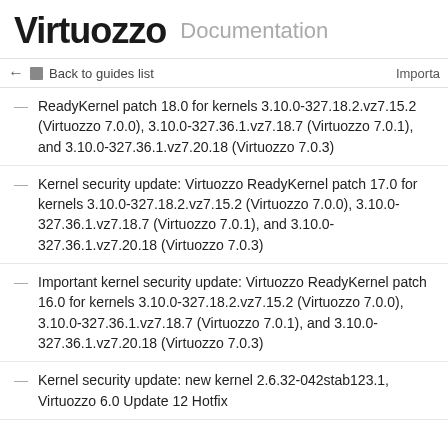Virtuozzo Documentation
← Back to guides list  Importa
ReadyKernel patch 18.0 for kernels 3.10.0-327.18.2.vz7.15.2 (Virtuozzo 7.0.0), 3.10.0-327.36.1.vz7.18.7 (Virtuozzo 7.0.1), and 3.10.0-327.36.1.vz7.20.18 (Virtuozzo 7.0.3)
Kernel security update: Virtuozzo ReadyKernel patch 17.0 for kernels 3.10.0-327.18.2.vz7.15.2 (Virtuozzo 7.0.0), 3.10.0-327.36.1.vz7.18.7 (Virtuozzo 7.0.1), and 3.10.0-327.36.1.vz7.20.18 (Virtuozzo 7.0.3)
Important kernel security update: Virtuozzo ReadyKernel patch 16.0 for kernels 3.10.0-327.18.2.vz7.15.2 (Virtuozzo 7.0.0), 3.10.0-327.36.1.vz7.18.7 (Virtuozzo 7.0.1), and 3.10.0-327.36.1.vz7.20.18 (Virtuozzo 7.0.3)
Kernel security update: new kernel 2.6.32-042stab123.1, Virtuozzo 6.0 Update 12 Hotfix